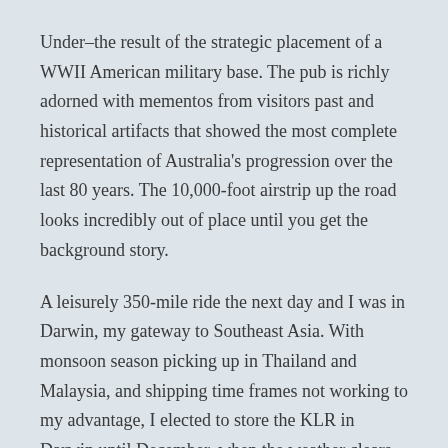Under–the result of the strategic placement of a WWII American military base. The pub is richly adorned with mementos from visitors past and historical artifacts that showed the most complete representation of Australia's progression over the last 80 years. The 10,000-foot airstrip up the road looks incredibly out of place until you get the background story.
A leisurely 350-mile ride the next day and I was in Darwin, my gateway to Southeast Asia. With monsoon season picking up in Thailand and Malaysia, and shipping time frames not working to my advantage, I elected to store the KLR in Darwin until December, when the weather clears.